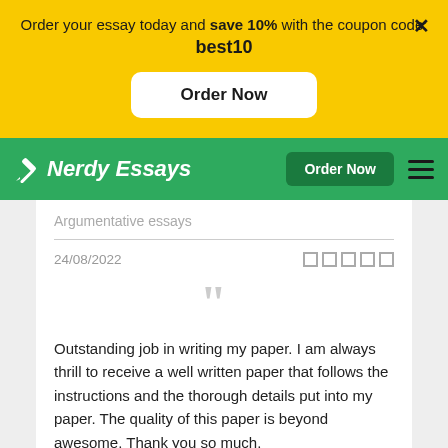Order your essay today and save 10% with the coupon code: best10
Order Now
Nerdy Essays  Order Now
Argumentative essays
24/08/2022
Outstanding job in writing my paper. I am always thrill to receive a well written paper that follows the instructions and the thorough details put into my paper. The quality of this paper is beyond awesome. Thank you so much.